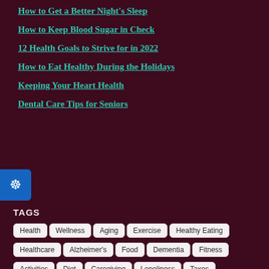How to Get a Better Night's Sleep
How to Keep Blood Sugar in Check
12 Health Goals to Strive for in 2022
How to Eat Healthy During the Holidays
Keeping Your Heart Health
Dental Care Tips for Seniors
TAGS
Health | Wellness | Aging | Exercise | Healthy Eating | Healthcare | Alzheimer's | Food | Dementia | Fitness | Activities | Diet | Caregiving | Loneliness | Taxes | Pets | Moisturizers | Socializing | Retirement